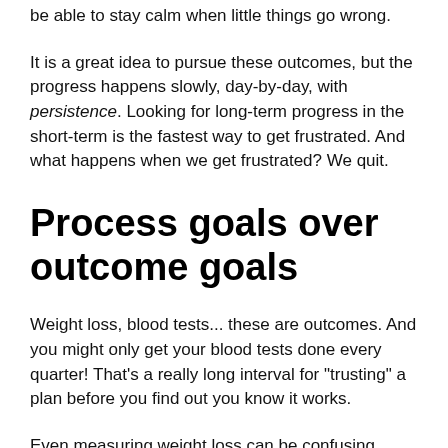be able to stay calm when little things go wrong.
It is a great idea to pursue these outcomes, but the progress happens slowly, day-by-day, with persistence. Looking for long-term progress in the short-term is the fastest way to get frustrated. And what happens when we get frustrated? We quit.
Process goals over outcome goals
Weight loss, blood tests... these are outcomes. And you might only get your blood tests done every quarter! That's a really long interval for "trusting" a plan before you find out you know it works.
Even measuring weight loss can be confusing. Your weight might fluctuate five pounds (or more!) throughout a single day, but you might only lose two pounds of fat in